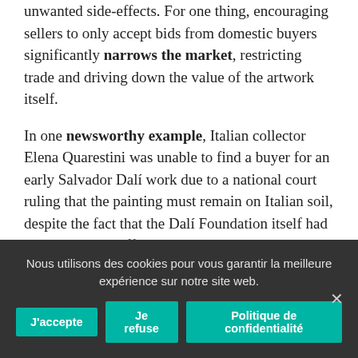unwanted side-effects. For one thing, encouraging sellers to only accept bids from domestic buyers significantly narrows the market, restricting trade and driving down the value of the artwork itself.
In one newsworthy example, Italian collector Elena Quarestini was unable to find a buyer for an early Salvador Dalí work due to a national court ruling that the painting must remain on Italian soil, despite the fact that the Dalí Foundation itself had made a serious offer. Italian export laws are so strict that any work currently in Italy and created by a deceased artist more than 50 years ago has to receive an export license. What's more, the Italian government seems to take a
Nous utilisons des cookies pour vous garantir la meilleure expérience sur notre site web.